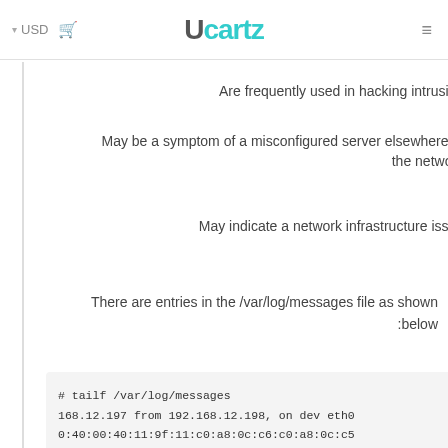USD  Ucartz  ☰
Are frequently used in hacking intrusion.
May be a symptom of a misconfigured server elsewhere on the network.
May indicate a network infrastructure issue.
There are entries in the /var/log/messages file as shown below:
# tailf /var/log/messages
168.12.197 from 192.168.12.198, on dev eth0
0:40:00:40:11:9f:11:c0:a8:0c:c6:c0:a8:0c:c5
168.12.192 from 192.168.12.198, on dev eth0